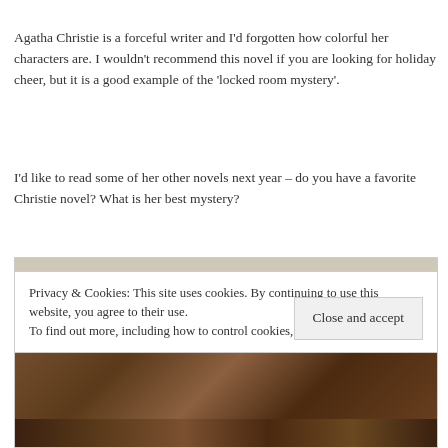Agatha Christie is a forceful writer and I'd forgotten how colorful her characters are. I wouldn't recommend this novel if you are looking for holiday cheer, but it is a good example of the 'locked room mystery'.
I'd like to read some of her other novels next year – do you have a favorite Christie novel? What is her best mystery?
[Figure (photo): A photograph showing what appears to be a dark wooden surface or table top with a mottled brown texture, against a light beige/cream background.]
Privacy & Cookies: This site uses cookies. By continuing to use this website, you agree to their use.
To find out more, including how to control cookies, see here: Cookie Policy
Close and accept